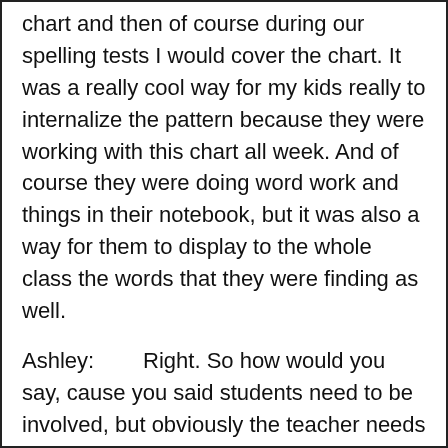chart and then of course during our spelling tests I would cover the chart. It was a really cool way for my kids really to internalize the pattern because they were working with this chart all week. And of course they were doing word work and things in their notebook, but it was also a way for them to display to the whole class the words that they were finding as well.
Ashley:        Right. So how would you say, cause you said students need to be involved, but obviously the teacher needs to, like I always say teacher-guided, student-led kind of thing. So how would you recommend to teachers who are